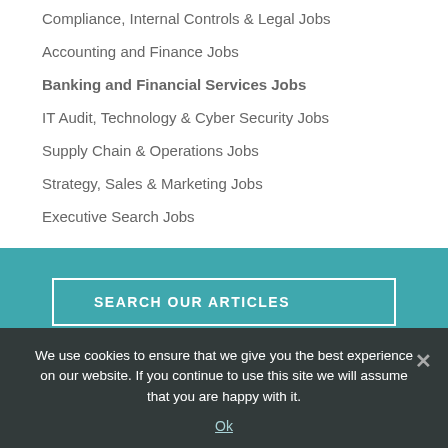Compliance, Internal Controls & Legal Jobs
Accounting and Finance Jobs
Banking and Financial Services Jobs
IT Audit, Technology & Cyber Security Jobs
Supply Chain & Operations Jobs
Strategy, Sales & Marketing Jobs
Executive Search Jobs
SEARCH OUR ARTICLES
We use cookies to ensure that we give you the best experience on our website. If you continue to use this site we will assume that you are happy with it.
Ok